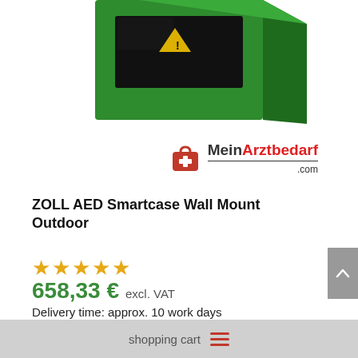[Figure (photo): Green ZOLL AED Smartcase Wall Mount Outdoor cabinet box, partially visible at top of page]
[Figure (logo): MeinArztbedarf.com logo with red medical bag icon and brand name]
ZOLL AED Smartcase Wall Mount Outdoor
[Figure (other): Five gold/orange star rating icons]
658,33 € excl. VAT
Delivery time: approx. 10 work days
shopping cart